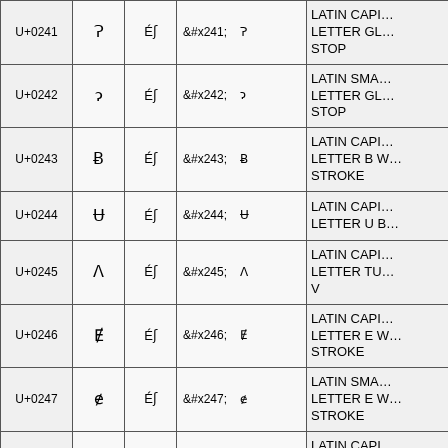| Code | Glyph | Fallback | HTML Entity | Description |
| --- | --- | --- | --- | --- |
| U+0241 | Ɂ | Éʃ | &#x241;   Ɂ | LATIN CAPITAL LETTER GLOTTAL STOP |
| U+0242 | ɂ | Éʃ | &#x242;   ɂ | LATIN SMALL LETTER GLOTTAL STOP |
| U+0243 | Ƀ | Éʃ | &#x243;   Ƀ | LATIN CAPITAL LETTER B WITH STROKE |
| U+0244 | Ʉ | Éʃ | &#x244;   Ʉ | LATIN CAPITAL LETTER U BAR |
| U+0245 | Ʌ | Éʃ | &#x245;   Ʌ | LATIN CAPITAL LETTER TURNED V |
| U+0246 | Ɇ | Éʃ | &#x246;   Ɇ | LATIN CAPITAL LETTER E WITH STROKE |
| U+0247 | ɇ | Éʃ | &#x247;   ɇ | LATIN SMALL LETTER E WITH STROKE |
| U+0248 | Ɉ | Éʃ | &#x248;   Ɉ | LATIN CAPITAL LETTER J WITH STROKE |
| U+0249 |  | Éʃ | &#x249; | LATIN SMALL... |